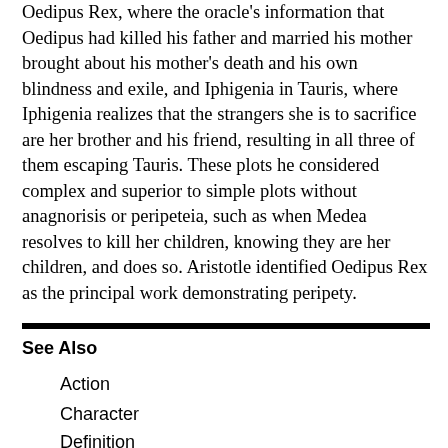Oedipus Rex, where the oracle's information that Oedipus had killed his father and married his mother brought about his mother's death and his own blindness and exile, and Iphigenia in Tauris, where Iphigenia realizes that the strangers she is to sacrifice are her brother and his friend, resulting in all three of them escaping Tauris. These plots he considered complex and superior to simple plots without anagnorisis or peripeteia, such as when Medea resolves to kill her children, knowing they are her children, and does so. Aristotle identified Oedipus Rex as the principal work demonstrating peripety.
See Also
Action
Character
Definition